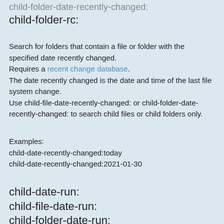child-folder-date-recently-changed:
child-folder-rc:
Search for folders that contain a file or folder with the specified date recently changed.
Requires a recent change database.
The date recently changed is the date and time of the last file system change.
Use child-file-date-recently-changed: or child-folder-date-recently-changed: to search child files or child folders only.
Examples:
child-date-recently-changed:today
child-date-recently-changed:2021-01-30
child-date-run:
child-file-date-run:
child-folder-date-run:
Search for folders that contain a file or folder with the specified date run.
Requires Run History.
The date run is set when an item is opened from Everything.
Use child-file-date-run: or child-folder-date-run: to search child files or